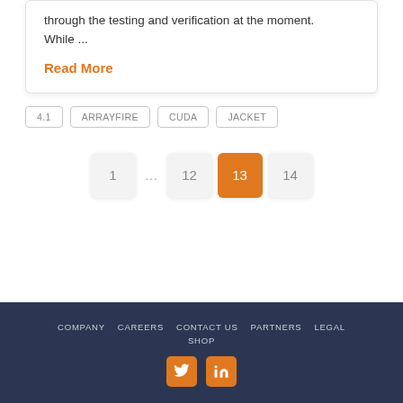through the testing and verification at the moment. While ...
Read More
4.1
ARRAYFIRE
CUDA
JACKET
1 ... 12 13 14
COMPANY  CAREERS  CONTACT US  PARTNERS  LEGAL  SHOP